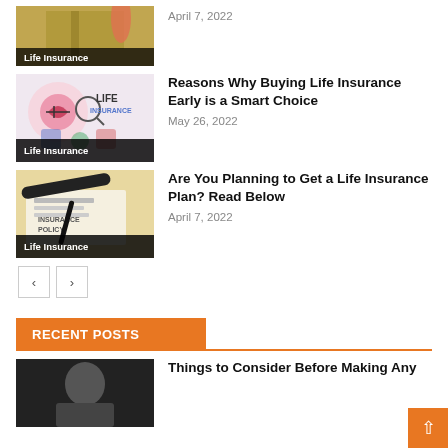[Figure (photo): Life Insurance thumbnail image with Life Insurance label overlay, showing person walking on steps]
April 7, 2022
[Figure (photo): Life Insurance graphic with heart, magnifying glass, LIFE INSURANCE text, and insurance icons]
Reasons Why Buying Life Insurance Early is a Smart Choice
May 26, 2022
[Figure (photo): Insurance policy document with glasses and pen on top, Life Insurance label overlay]
Are You Planning to Get a Life Insurance Plan? Read Below
April 7, 2022
RECENT POSTS
[Figure (photo): Dark thumbnail image of a person]
Things to Consider Before Making Any